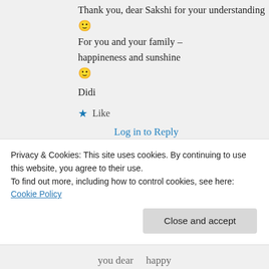Thank you, dear Sakshi for your understanding 🙂 For you and your family – happineness and sunshine 🙂
Didi
★ Like
Log in to Reply
Privacy & Cookies: This site uses cookies. By continuing to use this website, you agree to their use. To find out more, including how to control cookies, see here: Cookie Policy
Close and accept
you dear    happy